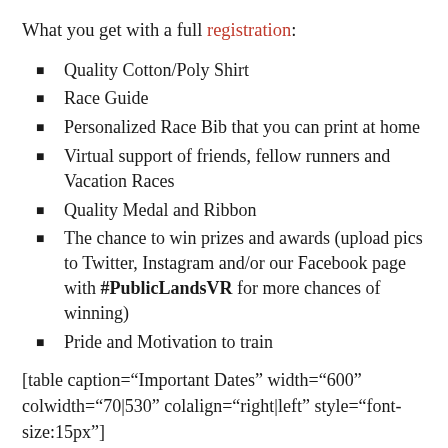What you get with a full registration:
Quality Cotton/Poly Shirt
Race Guide
Personalized Race Bib that you can print at home
Virtual support of friends, fellow runners and Vacation Races
Quality Medal and Ribbon
The chance to win prizes and awards (upload pics to Twitter, Instagram and/or our Facebook page with #PublicLandsVR for more chances of winning)
Pride and Motivation to train
[table caption="Important Dates" width="600" colwidth="70|530" colalign="right|left" style="font-size:15px"]
Date,Deadline
9/7,Last day to register to get your shirt by race day (US